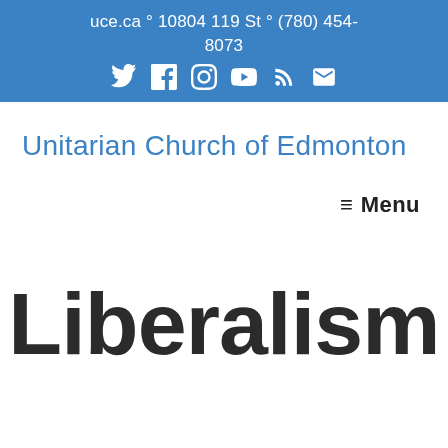uce.ca ° 10804 119 St ° (780) 454-8073
Unitarian Church of Edmonton
≡ Menu
Liberalism